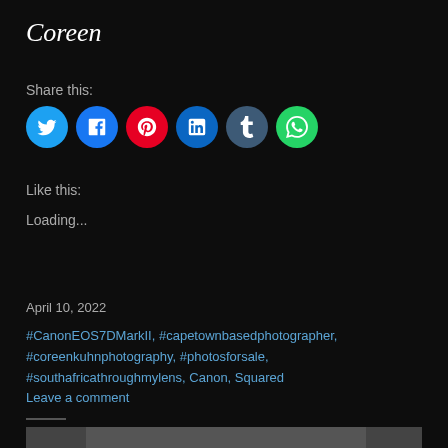Coreen
Share this:
[Figure (other): Social media share buttons: Twitter (blue), Facebook (blue), Pinterest (red), LinkedIn (blue), Tumblr (dark blue-grey), WhatsApp (green)]
Like this:
Loading...
April 10, 2022
#CanonEOS7DMarkII, #capetownbasedphotographer, #coreenkuhnphotography, #photosforsale, #southafricathroughmylens, Canon, Squared
Leave a comment
[Figure (photo): Partial view of a bird with dark feathers against a green background]